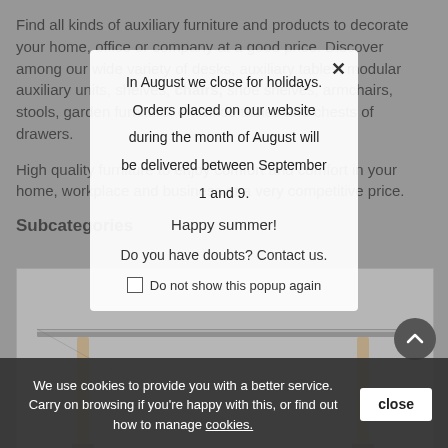Find all kinds of auxiliary furniture and products to decorate your home, office or company at a good price. Discover among our wide variety of desks, auxiliary tables, modular auxiliary units, shelves, chairs, shoe shelves, armchairs, stools, garden furniture, entrance tables and chests of drawers.
High quality furniture to enjoy comfort and comfort in your home, workplace and business at a very competitive price.
Subcategories
[Figure (photo): Glass-topped furniture item with wooden legs]
In August we close for holidays. Orders placed on our website during the month of August will be delivered between September 1 and 9.

Happy summer!

Do you have doubts? Contact us.

Do not show this popup again
We use cookies to provide you with a better service. Carry on browsing if you're happy with this, or find out how to manage cookies.